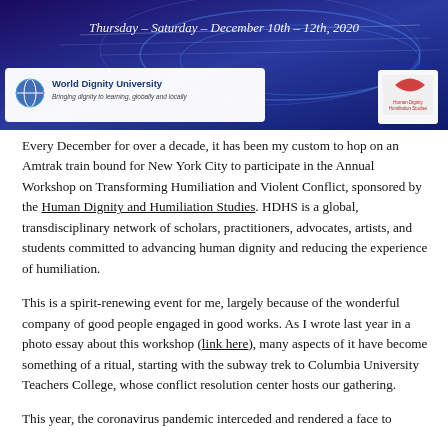[Figure (illustration): Banner image for the Annual Workshop on Transforming Humiliation and Violent Conflict. Dark blue/purple background with abstract light streaks. Text reads 'Thursday – Saturday – December 10th – 12th, 2020'. Bottom left shows World Dignity University logo with globe icon and tagline 'Bringing dignity to learning, globally and locally'. Bottom right shows Human Dignity and Humiliation Studies logo in red.]
Every December for over a decade, it has been my custom to hop on an Amtrak train bound for New York City to participate in the Annual Workshop on Transforming Humiliation and Violent Conflict, sponsored by the Human Dignity and Humiliation Studies. HDHS is a global, transdisciplinary network of scholars, practitioners, advocates, artists, and students committed to advancing human dignity and reducing the experience of humiliation.
This is a spirit-renewing event for me, largely because of the wonderful company of good people engaged in good works. As I wrote last year in a photo essay about this workshop (link here), many aspects of it have become something of a ritual, starting with the subway trek to Columbia University Teachers College, whose conflict resolution center hosts our gathering.
This year, the coronavirus pandemic interceded and rendered a face to